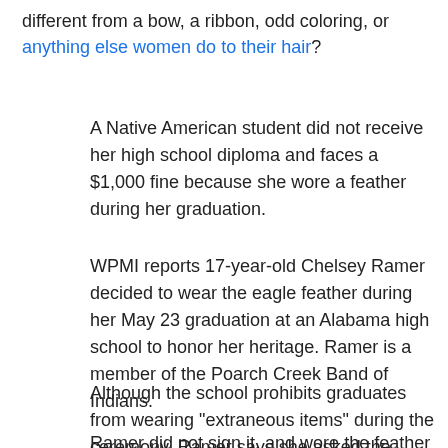different from a bow, a ribbon, odd coloring, or anything else women do to their hair?
A Native American student did not receive her high school diploma and faces a $1,000 fine because she wore a feather during her graduation.
WPMI reports 17-year-old Chelsey Ramer decided to wear the eagle feather during her May 23 graduation at an Alabama high school to honor her heritage. Ramer is a member of the Poarch Creek Band of Indians.
Although the school prohibits graduates from wearing "extraneous items" during the ceremony, Ramer says she asked the headmaster if she could wear the feather anyway. She was denied, and was told she had to sign a dress code contract to walk at graduation.
Ramer did not sign it, and wore the feather in her